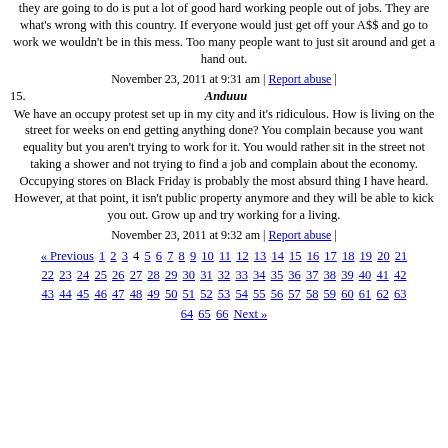they are going to do is put a lot of good hard working people out of jobs. They are what's wrong with this country. If everyone would just get off your A$$ and go to work we wouldn't be in this mess. Too many people want to just sit around and get a hand out.
November 23, 2011 at 9:31 am | Report abuse |
15. Anduuu
We have an occupy protest set up in my city and it's ridiculous. How is living on the street for weeks on end getting anything done? You complain because you want equality but you aren't trying to work for it. You would rather sit in the street not taking a shower and not trying to find a job and complain about the economy. Occupying stores on Black Friday is probably the most absurd thing I have heard. However, at that point, it isn't public property anymore and they will be able to kick you out. Grow up and try working for a living.
November 23, 2011 at 9:32 am | Report abuse |
« Previous 1 2 3 4 5 6 7 8 9 10 11 12 13 14 15 16 17 18 19 20 21 22 23 24 25 26 27 28 29 30 31 32 33 34 35 36 37 38 39 40 41 42 43 44 45 46 47 48 49 50 51 52 53 54 55 56 57 58 59 60 61 62 63 64 65 66 Next »